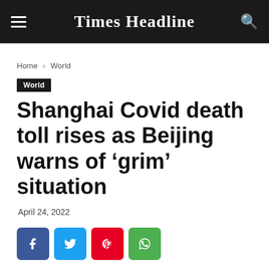Times Headline
Home › World
World
Shanghai Covid death toll rises as Beijing warns of ‘grim’ situation
April 24, 2022
[Figure (infographic): Social share buttons: Facebook, Twitter, Pinterest, WhatsApp, and a comment bubble icon]